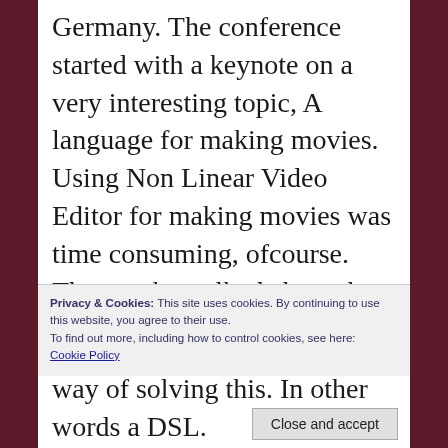Germany. The conference started with a keynote on a very interesting topic, A language for making movies. Using Non Linear Video Editor for making movies was time consuming, ofcourse. The speaker talked about the struggle of merging presentation, video and high quality sound for conferences. Clearly, Automation was needed here which could be achieved by 1. Making a plugin for non linear VE, 2. Writing a UI automation tool like an operating system macro 3. Using shell scripting. However. dealing shell script for this purpose
Privacy & Cookies: This site uses cookies. By continuing to use this website, you agree to their use.
To find out more, including how to control cookies, see here:
Cookie Policy
Close and accept
way of solving this. In other words a DSL.